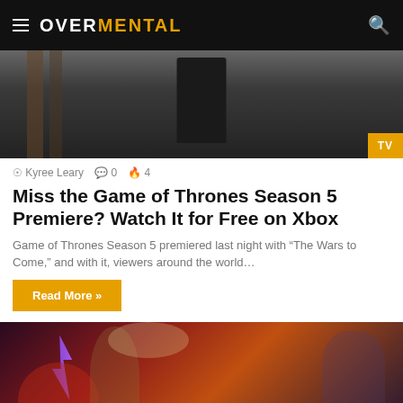OVERMENTAL
[Figure (photo): Dark moody image of a figure near wooden structures, with a TV badge overlay in the corner]
Kyree Leary  0  4
Miss the Game of Thrones Season 5 Premiere? Watch It for Free on Xbox
Game of Thrones Season 5 premiered last night with “The Wars to Come,” and with it, viewers around the world…
Read More »
[Figure (illustration): Fantasy game art featuring colorful characters including a red-haired woman, armored warrior with lightning, winged creatures, and dragons against a fiery background]